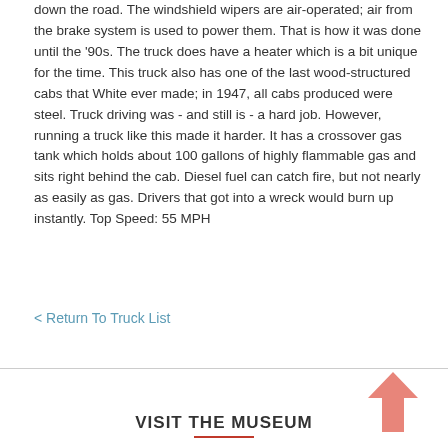down the road. The windshield wipers are air-operated; air from the brake system is used to power them. That is how it was done until the '90s. The truck does have a heater which is a bit unique for the time. This truck also has one of the last wood-structured cabs that White ever made; in 1947, all cabs produced were steel. Truck driving was - and still is - a hard job. However, running a truck like this made it harder. It has a crossover gas tank which holds about 100 gallons of highly flammable gas and sits right behind the cab. Diesel fuel can catch fire, but not nearly as easily as gas. Drivers that got into a wreck would burn up instantly. Top Speed: 55 MPH
< Return To Truck List
VISIT THE MUSEUM